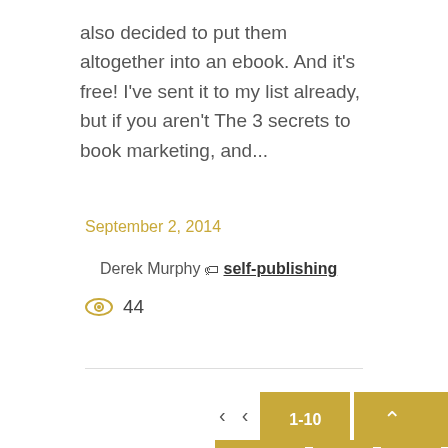also decided to put them altogether into an ebook. And it's free! I've sent it to my list already, but if you aren't The 3 secrets to book marketing, and...
September 2, 2014
Derek Murphy  self-publishing
44
< <  1-10  11-20  ^